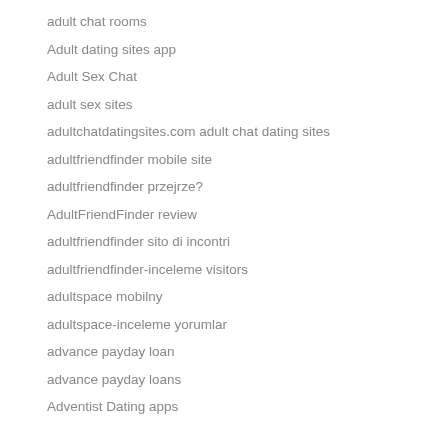adult chat rooms
Adult dating sites app
Adult Sex Chat
adult sex sites
adultchatdatingsites.com adult chat dating sites
adultfriendfinder mobile site
adultfriendfinder przejrze?
AdultFriendFinder review
adultfriendfinder sito di incontri
adultfriendfinder-inceleme visitors
adultspace mobilny
adultspace-inceleme yorumlar
advance payday loan
advance payday loans
Adventist Dating apps